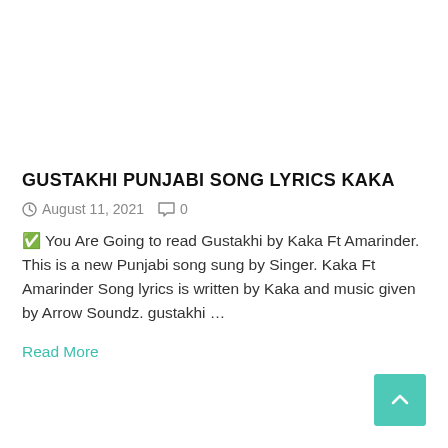GUSTAKHI PUNJABI SONG LYRICS KAKA
August 11, 2021   0
✅ You Are Going to read Gustakhi by Kaka Ft Amarinder. This is a new Punjabi song sung by Singer. Kaka Ft Amarinder Song lyrics is written by Kaka and music given by Arrow Soundz. gustakhi …
Read More